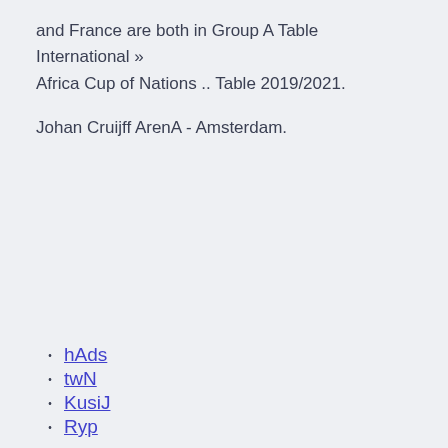and France are both in Group A Table International » Africa Cup of Nations .. Table 2019/2021.
Johan Cruijff ArenA - Amsterdam.
hAds
twN
KusiJ
Ryp